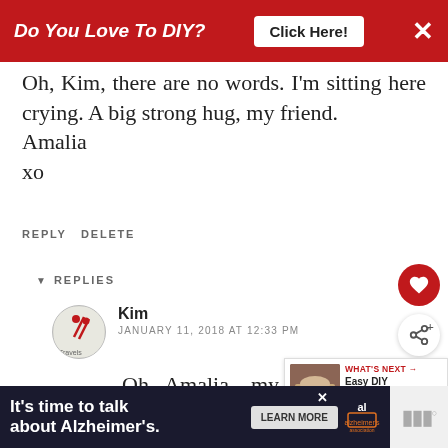[Figure (screenshot): Red advertisement banner at top: 'Do You Love To DIY?' with a 'Click Here!' button and X close button]
Oh, Kim, there are no words. I'm sitting here crying. A big strong hug, my friend.
Amalia
xo
REPLY DELETE
REPLIES
Kim
JANUARY 11, 2018 AT 12:33 PM
Oh Amalia, my friend, I will take that big
[Figure (infographic): WHAT'S NEXT arrow with thumbnail image and text: Easy DIY Mother's Da...]
[Figure (screenshot): Bottom advertisement banner: It's time to talk about Alzheimer's. with LEARN MORE button and Alzheimer's association logo]